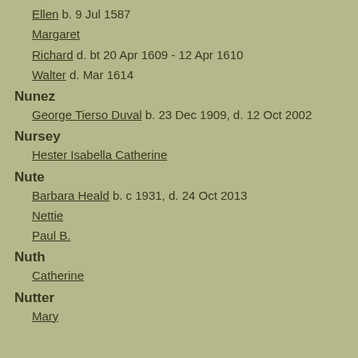Ellen  b. 9 Jul 1587
Margaret
Richard  d. bt 20 Apr 1609 - 12 Apr 1610
Walter  d. Mar 1614
Nunez
George Tierso Duval  b. 23 Dec 1909, d. 12 Oct 2002
Nursey
Hester Isabella Catherine
Nute
Barbara Heald  b. c 1931, d. 24 Oct 2013
Nettie
Paul B.
Nuth
Catherine
Nutter
Mary